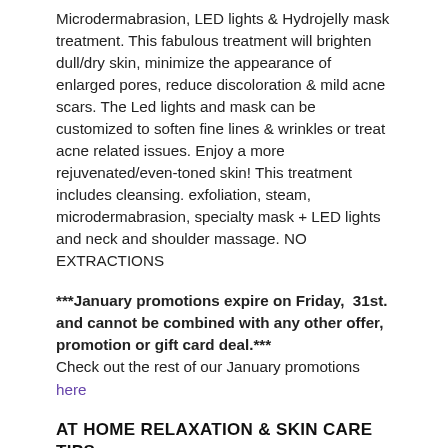Microdermabrasion, LED lights & Hydrojelly mask treatment. This fabulous treatment will brighten dull/dry skin, minimize the appearance of enlarged pores, reduce discoloration & mild acne scars. The Led lights and mask can be customized to soften fine lines & wrinkles or treat acne related issues. Enjoy a more rejuvenated/even-toned skin! This treatment includes cleansing. exfoliation, steam, microdermabrasion, specialty mask + LED lights and neck and shoulder massage. NO EXTRACTIONS
***January promotions expire on Friday,  31st. and cannot be combined with any other offer, promotion or gift card deal.*** Check out the rest of our January promotions here
AT HOME RELAXATION & SKIN CARE TIPS.